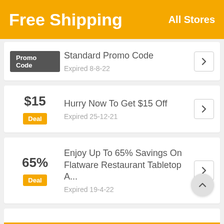Free Shipping
All Stores
Standard Promo Code — Expired 8-8-22
$15 — Hurry Now To Get $15 Off — Expired 25-12-21
65% — Enjoy Up To 65% Savings On Flatware Restaurant Tabletop A... — Expired 19-4-22